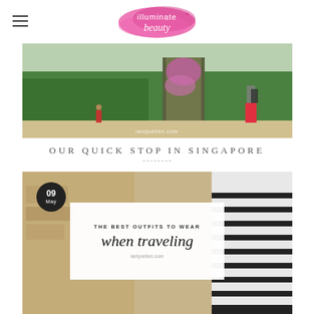[Figure (logo): illuminate beauty blog logo with pink watercolor background and script text]
[Figure (photo): Travel photo at Gardens by the Bay Singapore with greenery and a person in red pants with backpack, watermarked iamjoellen.com]
OUR QUICK STOP IN SINGAPORE
[Figure (photo): Blog post thumbnail for best outfits to wear when traveling, showing person in striped dress against stone wall, with date badge 09 May and white card overlay with text, watermarked iamjoellen.com]